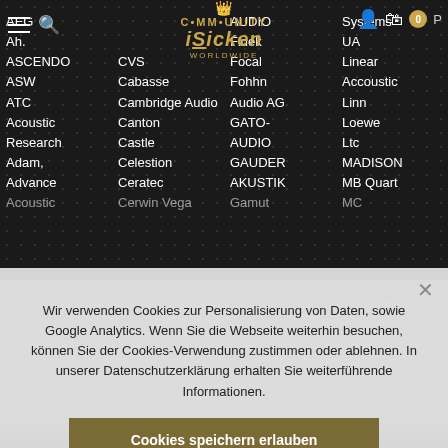[Figure (screenshot): Dark textured background with dot/bubble pattern for navigation menu area]
[Figure (logo): Community iSicken Worldwide logo with golden crown icon and stylized text]
AEG
Ah.
ASCENDO
ASW
ATC
Acoustic Research
Adam,
Advance
Acoustic
CVS
Cabasse
Cambridge Audio
Canton
Castle
Celestion
Ceratec
Cerwin Vega
AUDIO Systems
Fidek
Focal
Fohhn Audio AG
GATO-AUDIO
GAUDER AKUSTIK
Gamut
UA
Linear
Accoustic
Linn
Loewe
Ltc
MADISON
MB Quart
MC
Wir verwenden Cookies zur Personalisierung von Daten, sowie Google Analytics. Wenn Sie die Webseite weiterhin besuchen, können Sie der Cookies-Verwendung zustimmen oder ablehnen. In unserer Datenschutzerklärung erhalten Sie weiterführende Informationen.
Cookies speichern erlauben
Cookies nicht speichern
Datenschutzerklärung